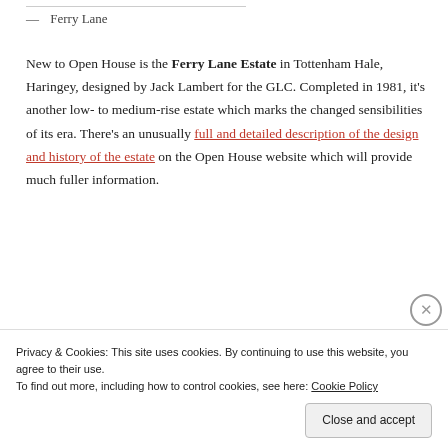— Ferry Lane
New to Open House is the Ferry Lane Estate in Tottenham Hale, Haringey, designed by Jack Lambert for the GLC.  Completed in 1981, it's another low- to medium-rise estate which marks the changed sensibilities of its era.  There's an unusually full and detailed description of the design and history of the estate on the Open House website which will provide much fuller information.
Privacy & Cookies: This site uses cookies. By continuing to use this website, you agree to their use.
To find out more, including how to control cookies, see here: Cookie Policy
Close and accept